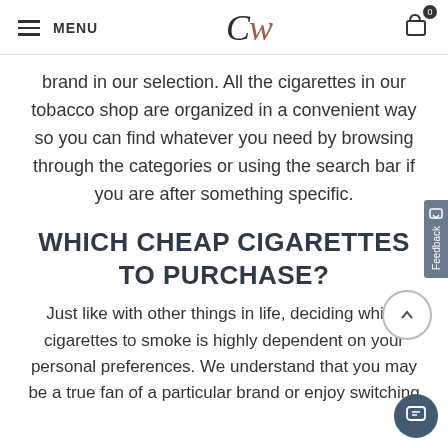MENU | CW | 0
brand in our selection. All the cigarettes in our tobacco shop are organized in a convenient way so you can find whatever you need by browsing through the categories or using the search bar if you are after something specific.
WHICH CHEAP CIGARETTES TO PURCHASE?
Just like with other things in life, deciding which cigarettes to smoke is highly dependent on your personal preferences. We understand that you may be a true fan of a particular brand or enjoy switching